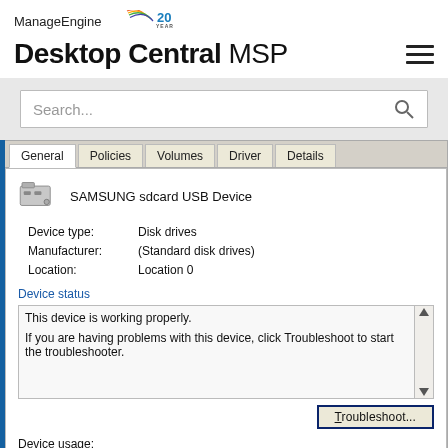[Figure (logo): ManageEngine logo with 20 YEARS badge]
Desktop Central MSP
[Figure (screenshot): Windows device properties dialog showing SAMSUNG sdcard USB Device with tabs: General, Policies, Volumes, Driver, Details. Device type: Disk drives, Manufacturer: (Standard disk drives), Location: Location 0. Device status box: 'This device is working properly. If you are having problems with this device, click Troubleshoot to start the troubleshooter.' Troubleshoot button. Device usage label.]